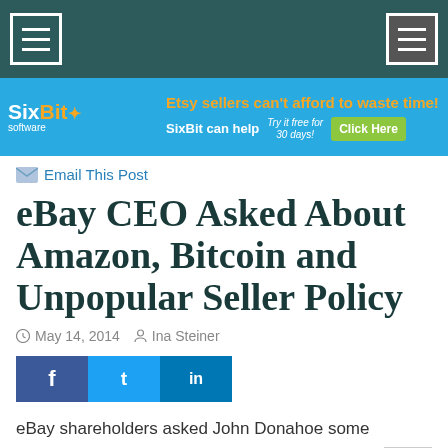Navigation header with menu icons
[Figure (other): SixBit software advertisement banner: 'Etsy sellers can't afford to waste time! SixBit can help. Try it free for 30 days! Click Here']
Email This Post
eBay CEO Asked About Amazon, Bitcoin and Unpopular Seller Policy
May 14, 2014   Ina Steiner
[Figure (other): Social sharing buttons: Facebook, Twitter, LinkedIn]
eBay shareholders asked John Donahoe some interesting questions on Tuesday following the annual shareholders meeting in San Jose. The CEO found